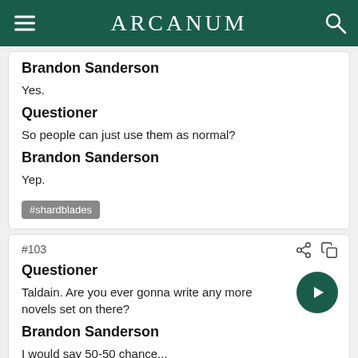ARCANUM
Brandon Sanderson
Yes.
Questioner
So people can just use them as normal?
Brandon Sanderson
Yep.
#shardblades
#103
Questioner
Taldain. Are you ever gonna write any more novels set on there?
Brandon Sanderson
I would say 50-50 chance...